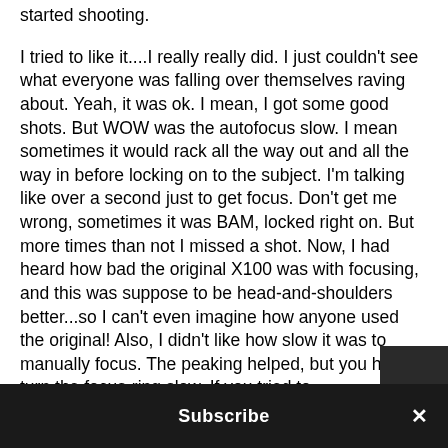started shooting.
I tried to like it....I really really did. I just couldn't see what everyone was falling over themselves raving about. Yeah, it was ok. I mean, I got some good shots. But WOW was the autofocus slow. I mean sometimes it would rack all the way out and all the way in before locking on to the subject. I'm talking like over a second just to get focus. Don't get me wrong, sometimes it was BAM, locked right on. But more times than not I missed a shot. Now, I had heard how bad the original X100 was with focusing, and this was suppose to be head-and-shoulders better...so I can't even imagine how anyone used the original! Also, I didn't like how slow it was to manually focus. The peaking helped, but you had to turn the focus-ring slow. If you tried to
Subscribe